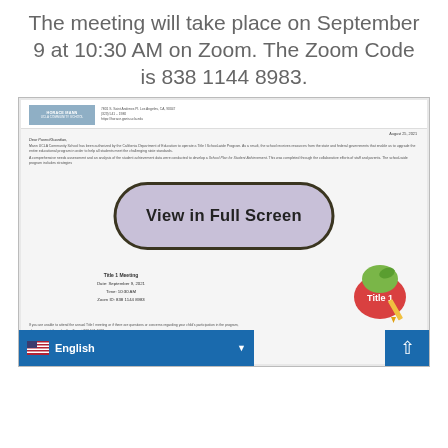The meeting will take place on September 9 at 10:30 AM on Zoom. The Zoom Code is 838 1144 8983.
[Figure (screenshot): Screenshot of a school letter document preview with a 'View in Full Screen' overlay button. The document is from Horace Mann UCLA Community School, dated August 25, 2021, addressed to Dear Parent/Guardian. It includes meeting details: Title 1 Meeting, Date: September 9, 2021, Time: 10:30 AM, Zoom ID: 838 1144 8983. A Title 1 logo appears at bottom right. A language selector showing English and a scroll-to-top button are visible.]